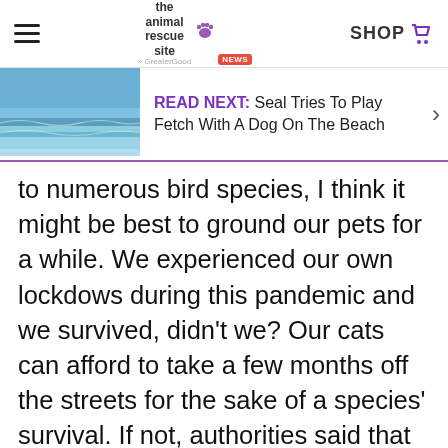the animal rescue site news | SHOP
READ NEXT: Seal Tries To Play Fetch With A Dog On The Beach
to numerous bird species, I think it might be best to ground our pets for a while. We experienced our own lockdows during this pandemic and we survived, didn't we? Our cats can afford to take a few months off the streets for the sake of a species' survival. If not, authorities said that they recommend some cats be rehomed with family or friends who reside outside the affected